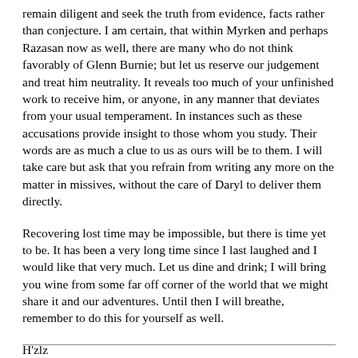remain diligent and seek the truth from evidence, facts rather than conjecture. I am certain, that within Myrken and perhaps Razasan now as well, there are many who do not think favorably of Glenn Burnie; but let us reserve our judgement and treat him neutrality. It reveals too much of your unfinished work to receive him, or anyone, in any manner that deviates from your usual temperament. In instances such as these accusations provide insight to those whom you study. Their words are as much a clue to us as ours will be to them. I will take care but ask that you refrain from writing any more on the matter in missives, without the care of Daryl to deliver them directly.
Recovering lost time may be impossible, but there is time yet to be. It has been a very long time since I last laughed and I would like that very much. Let us dine and drink; I will bring you wine from some far off corner of the world that we might share it and our adventures. Until then I will breathe, remember to do this for yourself as well.
H'zlz